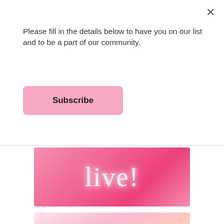Please fill in the details below to have you on our list and to be a part of our community.
Subscribe
[Figure (photo): Pink neon light script text on a pink gradient background]
[Figure (photo): Light pink gradient background with script text 'Podcast With' and a lavender/blue rectangle at the bottom]